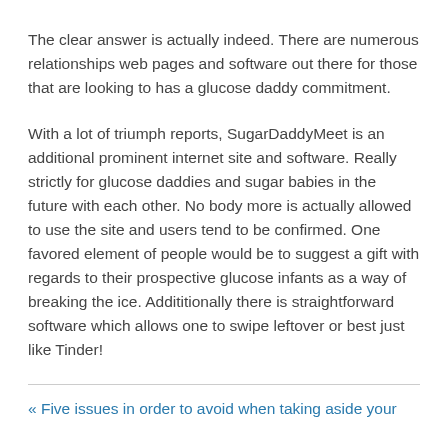The clear answer is actually indeed. There are numerous relationships web pages and software out there for those that are looking to has a glucose daddy commitment.
With a lot of triumph reports, SugarDaddyMeet is an additional prominent internet site and software. Really strictly for glucose daddies and sugar babies in the future with each other. No body more is actually allowed to use the site and users tend to be confirmed. One favored element of people would be to suggest a gift with regards to their prospective glucose infants as a way of breaking the ice. Addititionally there is straightforward software which allows one to swipe leftover or best just like Tinder!
« Five issues in order to avoid when taking aside your